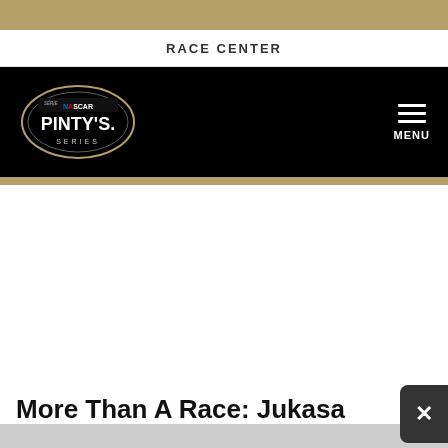RACE CENTER
[Figure (logo): NASCAR Pinty's Series logo on black navigation bar with hamburger menu icon and MENU label]
More Than A Race: Jukasa